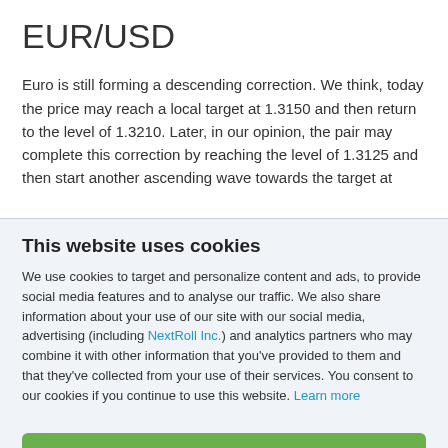EUR/USD
Euro is still forming a descending correction. We think, today the price may reach a local target at 1.3150 and then return to the level of 1.3210. Later, in our opinion, the pair may complete this correction by reaching the level of 1.3125 and then start another ascending wave towards the target at
This website uses cookies
We use cookies to target and personalize content and ads, to provide social media features and to analyse our traffic. We also share information about your use of our site with our social media, advertising (including NextRoll Inc.) and analytics partners who may combine it with other information that you've provided to them and that they've collected from your use of their services. You consent to our cookies if you continue to use this website. Learn more
Allow
Disallow